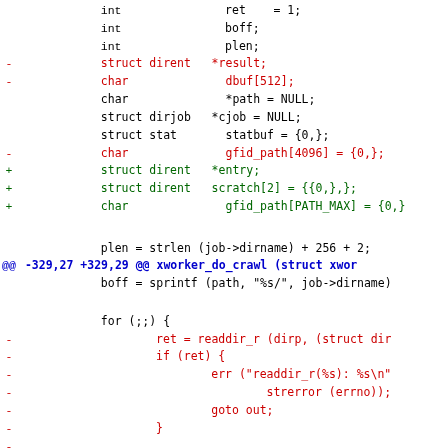Code diff showing changes to xworker_do_crawl function, including variable declarations and readdir_r replacement with sys_readdir
[Figure (other): Source code diff showing removed and added lines in C code for a directory crawling function]